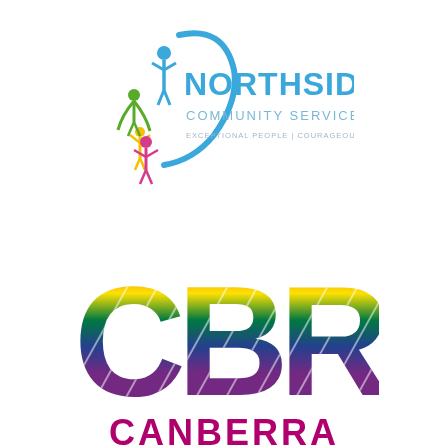[Figure (logo): Northside Community Service logo with colorful people figures and text 'NORTHSIDE COMMUNITY SERVICE — EXCEPTIONAL PEOPLE | COURAGEOUS PRACTICE']
[Figure (logo): CBR Canberra logo with rainbow pride stripe pattern filling bold letters 'CBR' and 'CANBERRA' text below]